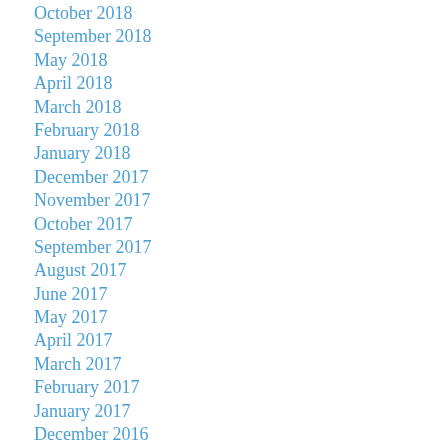October 2018
September 2018
May 2018
April 2018
March 2018
February 2018
January 2018
December 2017
November 2017
October 2017
September 2017
August 2017
June 2017
May 2017
April 2017
March 2017
February 2017
January 2017
December 2016
November 2016
October 2016